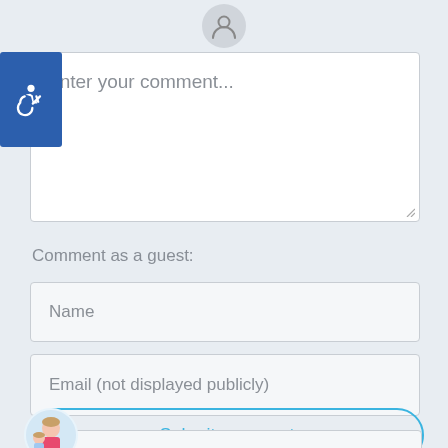[Figure (screenshot): User avatar circle icon at top center]
[Figure (screenshot): Blue accessibility icon badge on left side of comment textarea]
Enter your comment...
Comment as a guest:
Name
Email (not displayed publicly)
[Figure (photo): Small circular avatar photo of a woman with a child, positioned at bottom left of submit button]
Submit comment